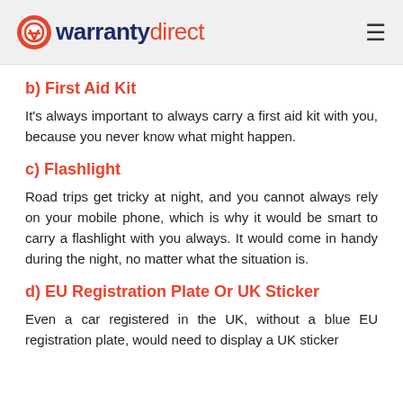warranty direct
b) First Aid Kit
It's always important to always carry a first aid kit with you, because you never know what might happen.
c) Flashlight
Road trips get tricky at night, and you cannot always rely on your mobile phone, which is why it would be smart to carry a flashlight with you always. It would come in handy during the night, no matter what the situation is.
d) EU Registration Plate Or UK Sticker
Even a car registered in the UK, without a blue EU registration plate, would need to display a UK sticker